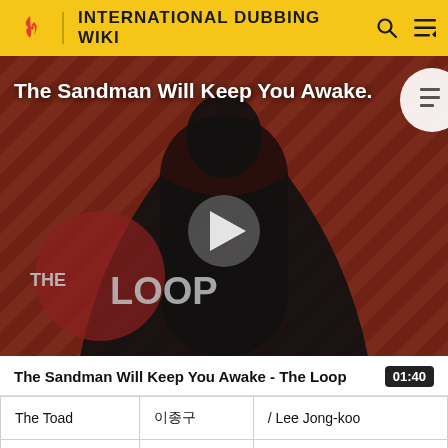INTERNATIONAL DUBBING WIKI
[Figure (screenshot): Video thumbnail for 'The Sandman Will Keep You Awake - The Loop' showing a dark-cloaked figure against a red diagonal striped background with 'THE LOOP' text and a play button overlay]
The Sandman Will Keep You Awake - The Loop  01:40
| The Toad | 이종구 | / Lee Jong-koo |
| Sid | 김환진 | / Kim Hwanjin |